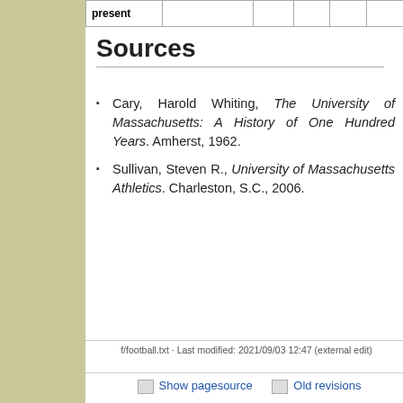| present |  |  |  |  |  |
| --- | --- | --- | --- | --- | --- |
|  |
Sources
Cary, Harold Whiting, The University of Massachusetts: A History of One Hundred Years. Amherst, 1962.
Sullivan, Steven R., University of Massachusetts Athletics. Charleston, S.C., 2006.
f/football.txt · Last modified: 2021/09/03 12:47 (external edit)
Show pagesource   Old revisions